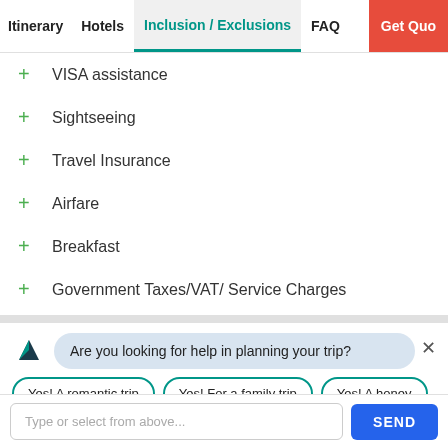Itinerary | Hotels | Inclusion / Exclusions | FAQ | Get Quo...
+ VISA assistance
+ Sightseeing
+ Travel Insurance
+ Airfare
+ Breakfast
+ Government Taxes/VAT/ Service Charges
Are you looking for help in planning your trip?
Yes! A romantic trip | Yes! For a family trip | Yes! A honey...
Type or select from above...